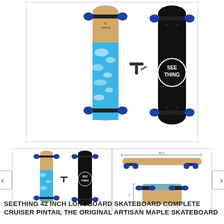[Figure (photo): Product photo of Seething longboard skateboard showing front view with ocean wave graphic and blue wheels, back view showing black deck with SEE THING logo, and a T-tool accessory included]
[Figure (photo): Thumbnail image showing multiple views of the longboard skateboard - front/back views side by side (same as main image)]
[Figure (photo): Thumbnail image showing side profile and bottom-up views of the longboard skateboard with dimensions]
SEETHING 42 INCH LONGBOARD SKATEBOARD COMPLETE CRUISER PINTAIL THE ORIGINAL ARTISAN MAPLE SKATEBOARD